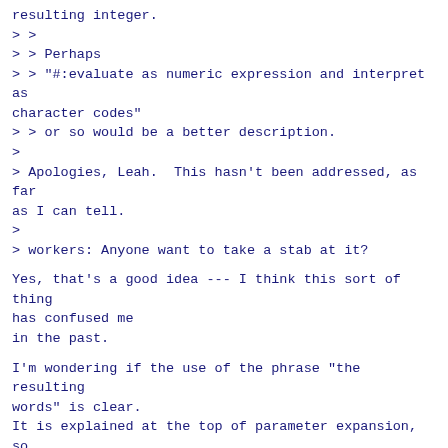resulting integer.
> >
> > Perhaps
> > "#:evaluate as numeric expression and interpret as character codes"
> > or so would be a better description.
>
> Apologies, Leah.  This hasn't been addressed, as far as I can tell.
>
> workers: Anyone want to take a stab at it?
Yes, that's a good idea --- I think this sort of thing has confused me
in the past.
I'm wondering if the use of the phrase "the resulting words" is clear.
It is explained at the top of parameter expansion, so I'm probably
worrying about nothing --- i.e. it's already explicit that something
like "32 65" is just one word unless you're in one of the cases where
the shell does splitting on it.  The phrase occurs repeatedly in this
area, so it would need explaining higher up if it wasn't clear.  But
I'll leave it alone unless anyway else thinks they're confused.